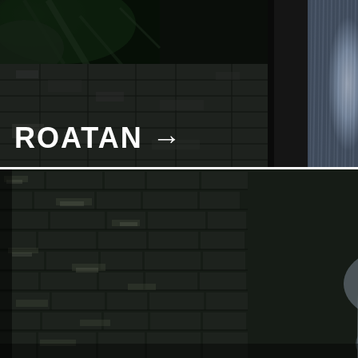[Figure (photo): Two-panel photograph of a stone structure with a waterfall. Top panel shows a dark stone wall or ancient ruin with tree branches visible at upper left, and flowing water cascading on the right side against a dark background. A white horizontal dividing line separates the two panels. Bottom panel shows a closer view of the same scene: mossy/aged stone block wall on the left and a curved sheet of white cascading water on the right. The overall color palette is very dark, moody and desaturated.]
ROATAN →